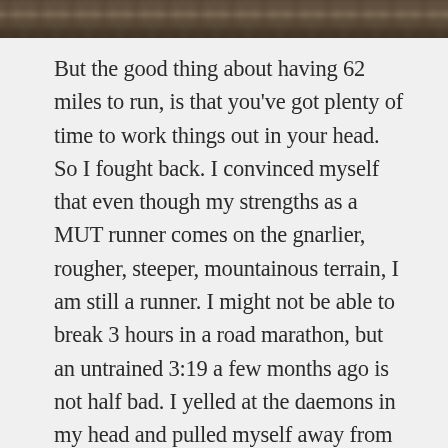[Figure (photo): Partial view of a trail or outdoor terrain photo strip at the top of the page]
But the good thing about having 62 miles to run, is that you've got plenty of time to work things out in your head. So I fought back. I convinced myself that even though my strengths as a MUT runner comes on the gnarlier, rougher, steeper, mountainous terrain, I am still a runner. I might not be able to break 3 hours in a road marathon, but an untrained 3:19 a few months ago is not half bad. I yelled at the daemons in my head and pulled myself away from that ledge. Yes, those women are infinitely faster and more accomplished runners than me but it didn't matter. I needed to continue running smoothly and do my own thing as